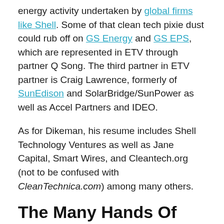energy activity undertaken by global firms like Shell. Some of that clean tech pixie dust could rub off on GS Energy and GS EPS, which are represented in ETV through partner Q Song. The third partner in ETV partner is Craig Lawrence, formerly of SunEdison and SolarBridge/SunPower as well as Accel Partners and IDEO.
As for Dikeman, his resume includes Shell Technology Ventures as well as Jane Capital, Smart Wires, and Cleantech.org (not to be confused with CleanTechnica.com) among many others.
The Many Hands Of The Renewable Energy Revolution
Circling back around to that old blog post, the institutional know-how of legacy energy firms is one factor that is (finally) beginning to push the renewable energy